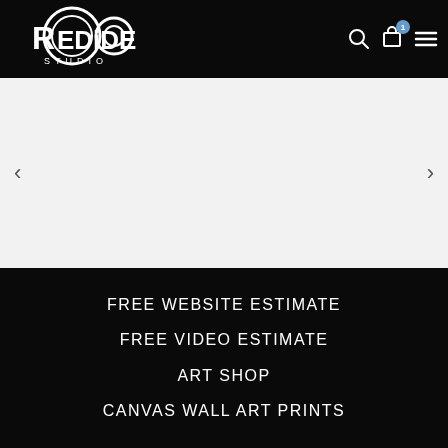[Figure (logo): Redideo Studio logo — circular badge with R and O letters, 'STUDIO' text below, white on black background]
[Figure (other): Image slider / carousel with light grey background, left arrow '<' and right arrow '>']
FREE WEBSITE ESTIMATE
FREE VIDEO ESTIMATE
ART SHOP
CANVAS WALL ART PRINTS